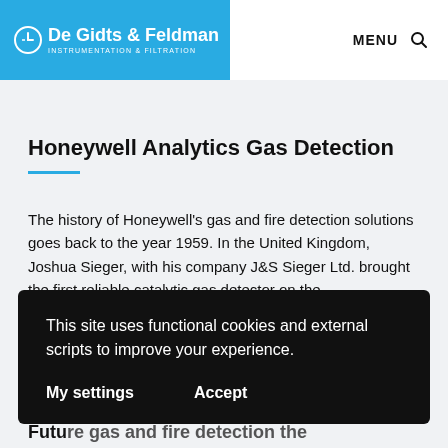De Gidts & Feldman — INSTRUMENTATION & FILTRATION
Honeywell Analytics Gas Detection
The history of Honeywell's gas and fire detection solutions goes back to the year 1959. In the United Kingdom, Joshua Sieger, with his company J&S Sieger Ltd. brought the first reliable catalytic gas detector on the
This site uses functional cookies and external scripts to improve your experience.
My settings   Accept